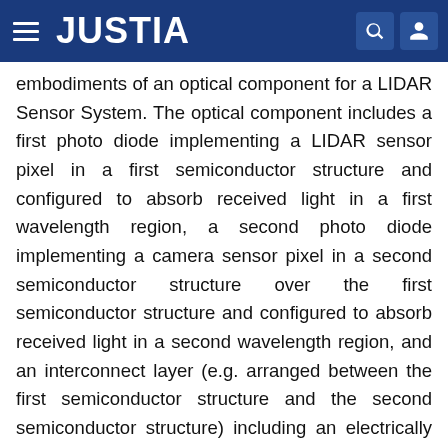JUSTIA
embodiments of an optical component for a LIDAR Sensor System. The optical component includes a first photo diode implementing a LIDAR sensor pixel in a first semiconductor structure and configured to absorb received light in a first wavelength region, a second photo diode implementing a camera sensor pixel in a second semiconductor structure over the first semiconductor structure and configured to absorb received light in a second wavelength region, and an interconnect layer (e.g. arranged between the first semiconductor structure and the second semiconductor structure) including an electrically conductive structure configured to electrically contact the second photo diode. The received light of the second wavelength region has a shorter wavelength than the received light of the first wavelength region.